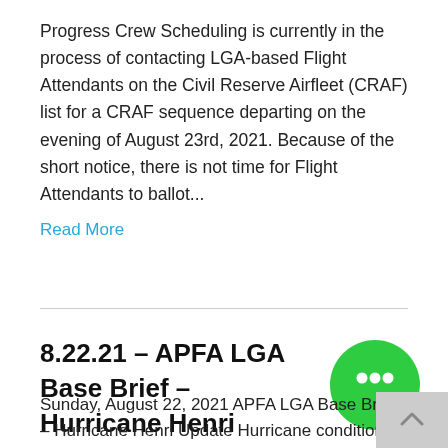Progress Crew Scheduling is currently in the process of contacting LGA-based Flight Attendants on the Civil Reserve Airfleet (CRAF) list for a CRAF sequence departing on the evening of August 23rd, 2021. Because of the short notice, there is not time for Flight Attendants to ballot...
Read More
8.22.21 – APFA LGA Base Brief – Hurricane Henri Update
Sunday, August 22, 2021 APFA LGA Base Brief – Hurricane Henri Update Hurricane conditions continue to be unpredictable in NYC and surrounding areas. The